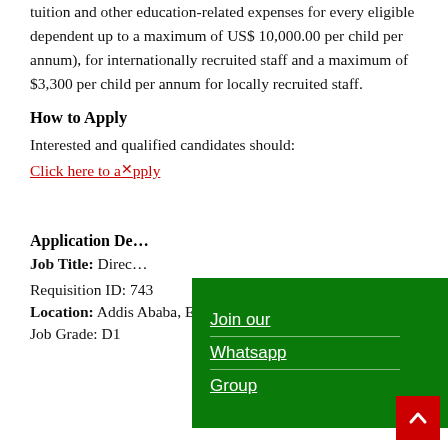tuition and other education-related expenses for every eligible dependent up to a maximum of US$ 10,000.00 per child per annum), for internationally recruited staff and a maximum of $3,300 per child per annum for locally recruited staff.
How to Apply
Interested and qualified candidates should:
Click here to apply
[Figure (other): Green popup overlay with 'Join our Whatsapp Group' link in white underlined text on dark green background]
Application De...
Job Title: Direc...
Requisition ID: 743
Location: Addis Ababa, Ethiopia
Job Grade: D1